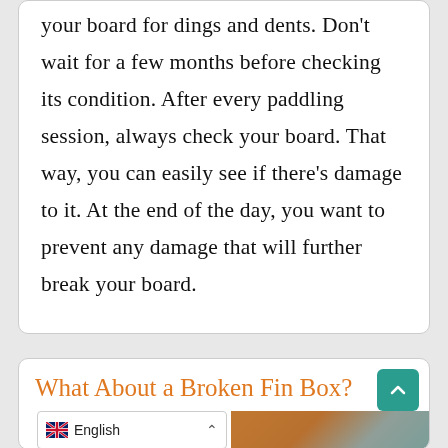your board for dings and dents. Don't wait for a few months before checking its condition. After every paddling session, always check your board. That way, you can easily see if there's damage to it. At the end of the day, you want to prevent any damage that will further break your board.
What About a Broken Fin Box?